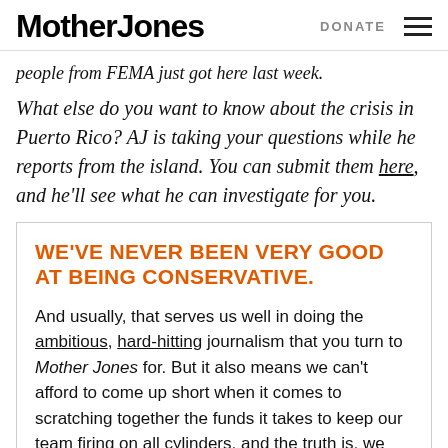Mother Jones   DONATE
people from FEMA just got here last week.
What else do you want to know about the crisis in Puerto Rico? AJ is taking your questions while he reports from the island. You can submit them here, and he'll see what he can investigate for you.
WE'VE NEVER BEEN VERY GOOD AT BEING CONSERVATIVE.
And usually, that serves us well in doing the ambitious, hard-hitting journalism that you turn to Mother Jones for. But it also means we can't afford to come up short when it comes to scratching together the funds it takes to keep our team firing on all cylinders, and the truth is, we finished our budgeting cycle on June 30